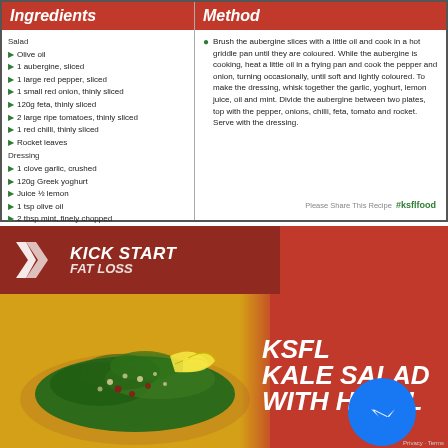Ingredients
Salad
Olive oil
1 aubergine, sliced
1 large red pepper, sliced
1 small red onion, thinly sliced
120g feta, thinly sliced
2 large ripe tomatoes, thinly sliced
1 red chilli, thinly sliced
Rocket leaves
Dressing
1 clove garlic, crushed
120g Greek yoghurt
Juice ½ lemon
1 tsp olive oil
2 tbsp mint, finely chopped
Method
Brush the aubergine slices with a little oil and cook in a hot griddle pan until they are coloured. While the aubergine is cooking, heat a little oil in a frying pan and cook the pepper and onion, turning occasionally, until soft and lightly coloured. To make the dressing, whisk together the garlic, yoghurt, lemon juice, oil and mint. Divide the aubergine between two plates, top with the pepper, onions, chilli, feta, tomato and rocket. Serve with the dressing.
Please Share This Recipe #ksflfood
[Figure (logo): Kick Start Fat Loss logo with chevron X mark]
[Figure (photo): Plate of kale salad with lemon wedges on yellow plate]
KSFL KALE SALAD WITH HAZEL...